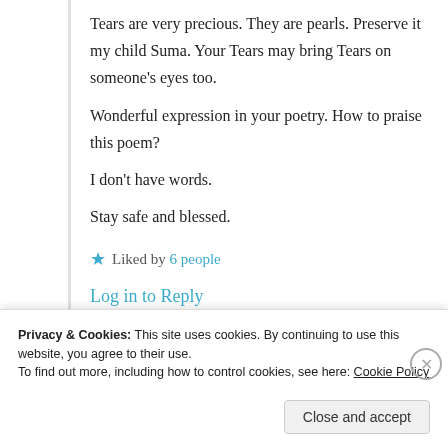Tears are very precious. They are pearls. Preserve it my child Suma. Your Tears may bring Tears on someone's eyes too.
Wonderful expression in your poetry. How to praise this poem?
I don't have words.
Stay safe and blessed.
★ Liked by 6 people
Log in to Reply
Privacy & Cookies: This site uses cookies. By continuing to use this website, you agree to their use.
To find out more, including how to control cookies, see here: Cookie Policy
Close and accept